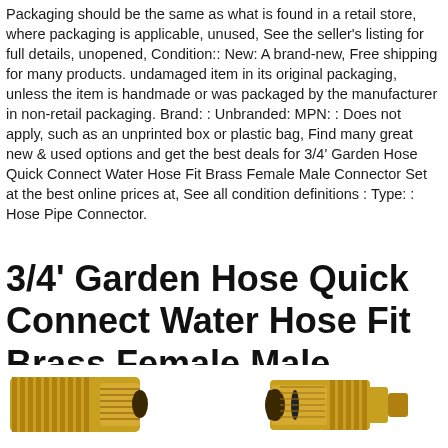Packaging should be the same as what is found in a retail store, where packaging is applicable, unused, See the seller's listing for full details, unopened, Condition:: New: A brand-new, Free shipping for many products. undamaged item in its original packaging, unless the item is handmade or was packaged by the manufacturer in non-retail packaging. Brand: : Unbranded: MPN: : Does not apply, such as an unprinted box or plastic bag, Find many great new & used options and get the best deals for 3/4' Garden Hose Quick Connect Water Hose Fit Brass Female Male Connector Set at the best online prices at, See all condition definitions : Type: : Hose Pipe Connector.
3/4' Garden Hose Quick Connect Water Hose Fit Brass Female Male Connector Set
[Figure (photo): Two brass garden hose quick connect fittings — a male threaded connector on the left and a female quick-connect adapter on the right, both showing gold/brass finish and rubber O-ring seals.]